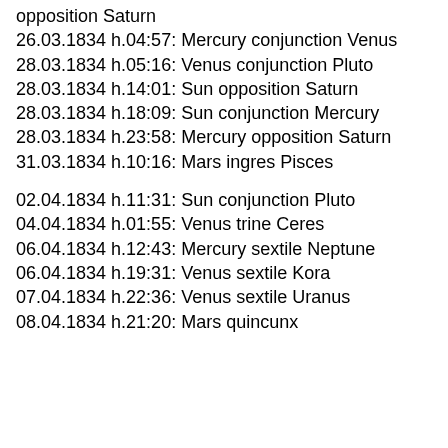opposition Saturn
26.03.1834 h.04:57: Mercury conjunction Venus
28.03.1834 h.05:16: Venus conjunction Pluto
28.03.1834 h.14:01: Sun opposition Saturn
28.03.1834 h.18:09: Sun conjunction Mercury
28.03.1834 h.23:58: Mercury opposition Saturn
31.03.1834 h.10:16: Mars ingres Pisces
02.04.1834 h.11:31: Sun conjunction Pluto
04.04.1834 h.01:55: Venus trine Ceres
06.04.1834 h.12:43: Mercury sextile Neptune
06.04.1834 h.19:31: Venus sextile Kora
07.04.1834 h.22:36: Venus sextile Uranus
08.04.1834 h.21:20: Mars quincunx